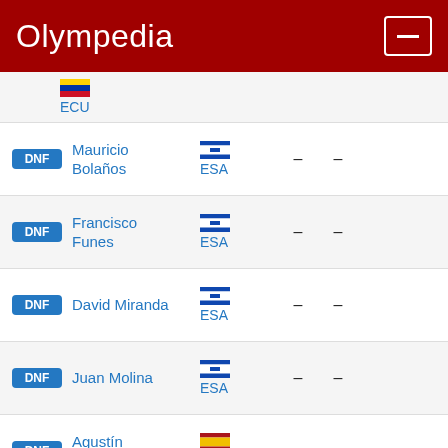Olympedia
| Pos | Name | Country | Col1 | Col2 |
| --- | --- | --- | --- | --- |
|  |  | ECU |  |  |
| DNF | Mauricio Bolaños | ESA | – | – |
| DNF | Francisco Funes | ESA | – | – |
| DNF | David Miranda | ESA | – | – |
| DNF | Juan Molina | ESA | – | – |
| DNF | Agustín Tamames | ESP | – | – |
| DNF | Yemane Negassi | ETH | – | – |
| DNF | Mehari | ETH | – | – |